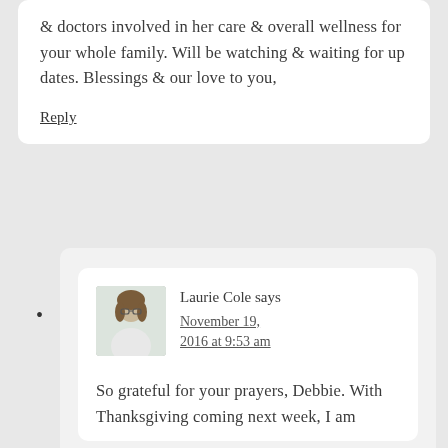& doctors involved in her care & overall wellness for your whole family. Will be watching & waiting for up dates. Blessings & our love to you,
Reply
Laurie Cole says
November 19, 2016 at 9:53 am
So grateful for your prayers, Debbie. With Thanksgiving coming next week, I am